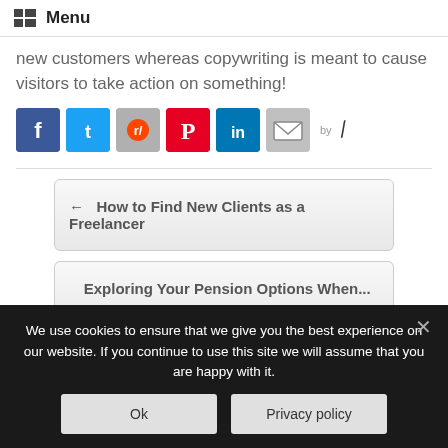Menu
new customers whereas copywriting is meant to cause visitors to take action on something!
[Figure (other): Social sharing buttons: Facebook, Twitter, Reddit, Pinterest, LinkedIn, Email, and a 'by' attribution with a logo]
← How to Find New Clients as a Freelancer
Exploring Your Pension Options When... →
We use cookies to ensure that we give you the best experience on our website. If you continue to use this site we will assume that you are happy with it.
Ok
Privacy policy